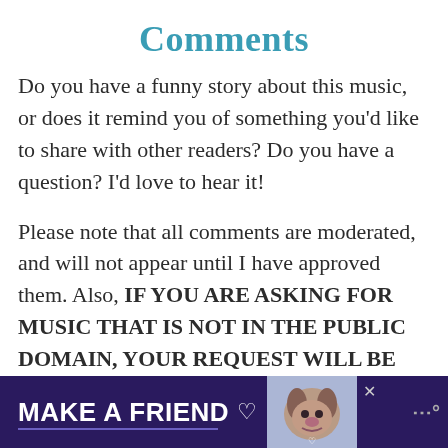Comments
Do you have a funny story about this music, or does it remind you of something you'd like to share with other readers? Do you have a question? I'd love to hear it!
Please note that all comments are moderated, and will not appear until I have approved them. Also, IF YOU ARE ASKING FOR MUSIC THAT IS NOT IN THE PUBLIC DOMAIN, YOUR REQUEST WILL BE IGNORED. That's pretty much any music written in the last 75 years...
[Figure (infographic): Advertisement banner at bottom: dark purple background with white bold text 'MAKE A FRIEND', a heart icon, a dog image, close button X, and a logo on the right. A purple underline below the text.]